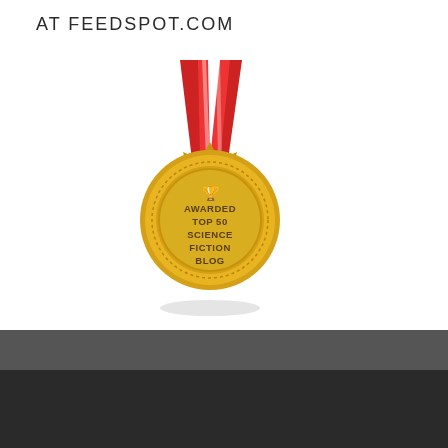AT FEEDSPOT.COM
[Figure (illustration): Gold award medal with red ribbon. Text on medal reads: AWARDED TOP 50 SCIENCE FICTION BLOG. The medal has a starburst/gear-shaped gold border with dotted inner ring and a trophy icon at top.]
Copyright 2016
Footer text center
Footer text right